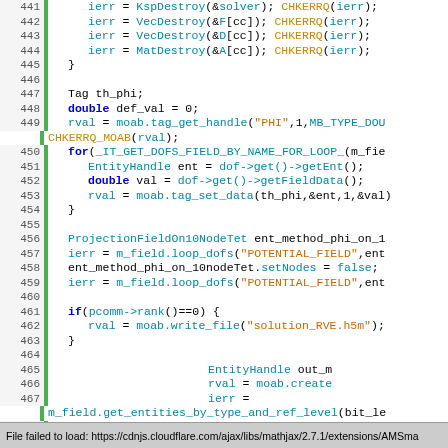[Figure (screenshot): Source code editor screenshot showing C++ code with syntax highlighting. Lines 441-470 visible, with a green vertical bar on the left marking active lines. Code involves PETSc/MOAB library calls including KSPDestroy, VecDestroy, MatDestroy, CHKERRQ, tag_get_handle, loop_dofs, write_file, and get_entities_by_type_and_ref_level functions.]
File failed to load: https://cdnjs.cloudflare.com/ajax/libs/mathjax/2.7.1/extensions/AMSma